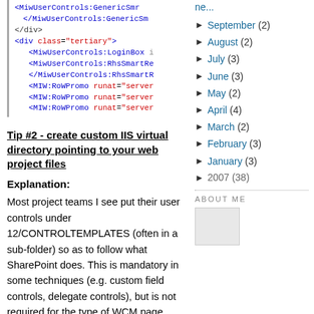[Figure (screenshot): Code block showing ASP.NET markup with MiwUserControls tags including GenericSmr, LoginBox, RhsSmartRe, and MIW:RoWPromo elements with runat=server attributes]
Tip #2 - create custom IIS virtual directory pointing to your web project files
Explanation:
Most project teams I see put their user controls under 12/CONTROLTEMPLATES (often in a sub-folder) so as to follow what SharePoint does. This is mandatory in some techniques (e.g. custom field controls, delegate controls), but is not required for the type of WCM page user controls discussed in tip #1, and there are
ne...
September (2)
August (2)
July (3)
June (3)
May (2)
April (4)
March (2)
February (3)
January (3)
2007 (38)
ABOUT ME